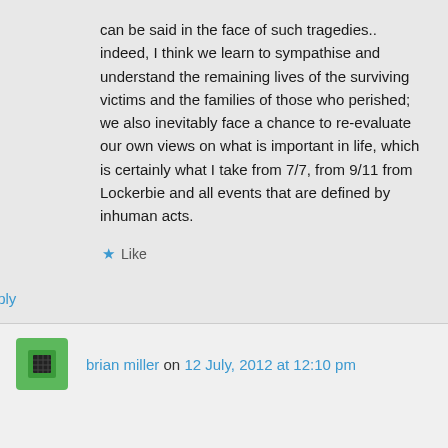can be said in the face of such tragedies.. indeed, I think we learn to sympathise and understand the remaining lives of the surviving victims and the families of those who perished; we also inevitably face a chance to re-evaluate our own views on what is important in life, which is certainly what I take from 7/7, from 9/11 from Lockerbie and all events that are defined by inhuman acts.
Like
Reply
brian miller on 12 July, 2012 at 12:10 pm